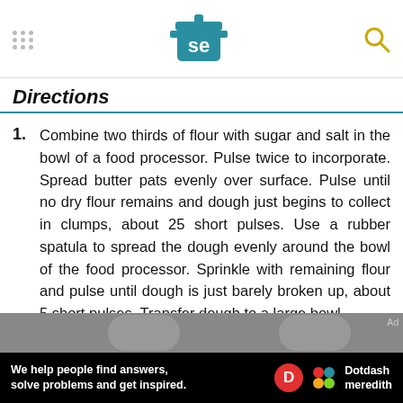Serious Eats logo header with navigation and search
Directions
Combine two thirds of flour with sugar and salt in the bowl of a food processor. Pulse twice to incorporate. Spread butter pats evenly over surface. Pulse until no dry flour remains and dough just begins to collect in clumps, about 25 short pulses. Use a rubber spatula to spread the dough evenly around the bowl of the food processor. Sprinkle with remaining flour and pulse until dough is just barely broken up, about 5 short pulses. Transfer dough to a large bowl.
[Figure (photo): Partial photo strip showing food preparation images]
Ad — We help people find answers, solve problems and get inspired. Dotdash meredith